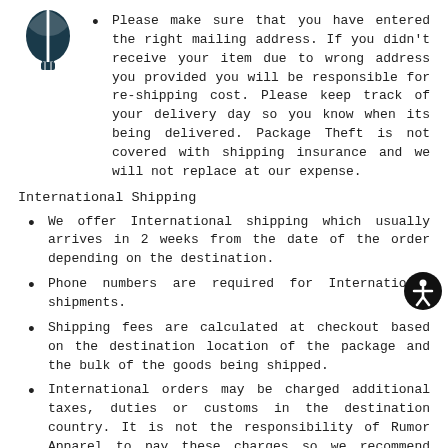Please make sure that you have entered the right mailing address. If you didn't receive your item due to wrong address you provided you will be responsible for re-shipping cost. Please keep track of your delivery day so you know when its being delivered. Package Theft is not covered with shipping insurance and we will not replace at our expense.
International Shipping
We offer International shipping which usually arrives in 2 weeks from the date of the order depending on the destination.
Phone numbers are required for International shipments.
Shipping fees are calculated at checkout based on the destination location of the package and the bulk of the goods being shipped.
International orders may be charged additional taxes, duties or customs in the destination country. It is not the responsibility of Rumor Apparel to pay these charges so we recommend checking with your local postal carrier to see if you will incur charges before ordering.